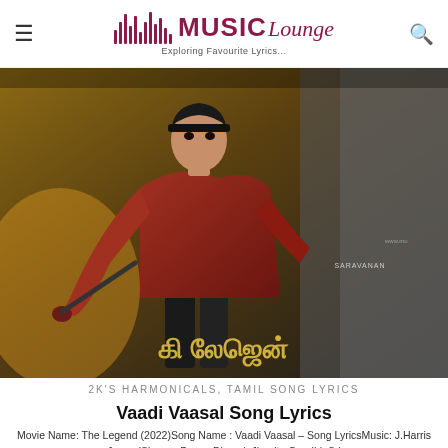MUSIC Lounge — Exploring Favourite Lyrics...
[Figure (photo): Movie poster for 'The Legend' (2022) Tamil film showing a young man in a red leather jacket in an action pose with Tamil script title text at the bottom and 'SARAVANAN' credit.]
2K'S HARMONICALS, TAMIL SONG LYRICS
Vaadi Vaasal Song Lyrics
Movie Name: The Legend (2022)Song Name : Vaadi Vaasal – Song LyricsMusic: J.Harris JayarajSinger : Benny Dhayal, Jhonita Gandhi, Sri